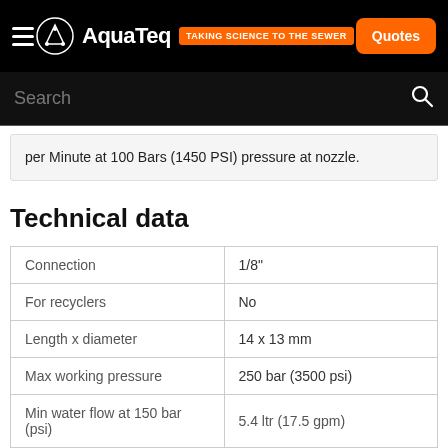AquaTeq — TAKING SCIENCE TO THE SEWER | Quotes
per Minute at 100 Bars (1450 PSI) pressure at nozzle.
Technical data
|  |  |
| --- | --- |
| Connection | 1/8" |
| For recyclers | No |
| Length x diameter | 14 x 13 mm |
| Max working pressure | 250 bar (3500 psi) |
| Min water flow at 150 bar (psi) | 5.4 ltr (17.5 gpm) |